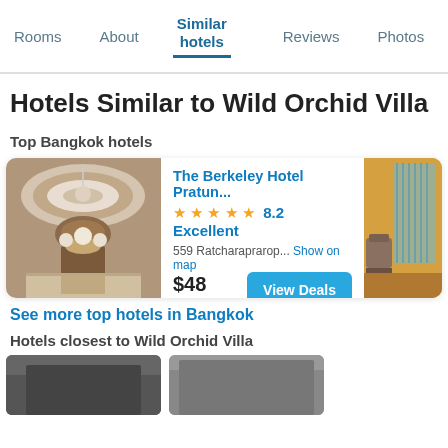Rooms  About  Similar hotels  Reviews  Photos  Loca...
Hotels Similar to Wild Orchid Villa
Top Bangkok hotels
[Figure (photo): Hotel lobby interior with ornate ceiling and floral display]
The Berkeley Hotel Pratun...
★★★★★ 8.2 Excellent
559 Ratcharaprarop...  Show on map
$48 Avg. per night  View Deals
[Figure (photo): Luxury hotel interior with warm golden lighting and seating area]
See more top hotels in Bangkok
Hotels closest to Wild Orchid Villa
[Figure (photo): Hotel exterior or room photo (partially cropped at bottom)]
[Figure (photo): Hotel photo (partially cropped at bottom right)]